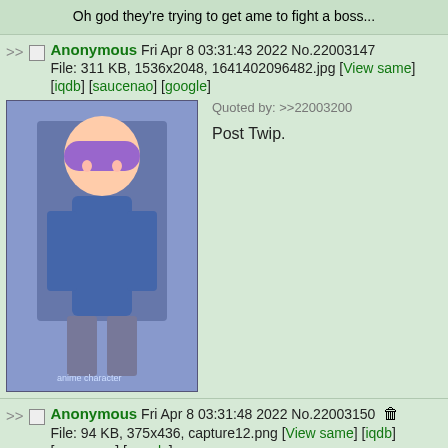Oh god they're trying to get ame to fight a boss...
>> Anonymous Fri Apr 8 03:31:43 2022 No.22003147
File: 311 KB, 1536x2048, 1641402096482.jpg [View same] [iqdb] [saucenao] [google]
Quoted by: >>22003200
Post Twip.
[Figure (illustration): Anime character with purple hair in blue outfit]
>> Anonymous Fri Apr 8 03:31:48 2022 No.22003150
File: 94 KB, 375x436, capture12.png [View same] [iqdb] [saucenao] [google]
Quoted by: >>22004537
>>22000000
souvenir
[Figure (screenshot): Screenshot of a forum/imageboard post]
>> Anonymous Fri Apr 8 03:31:51 2022 No.22003151
File: 338 KB, 553x549, 1645837358685... [View same]